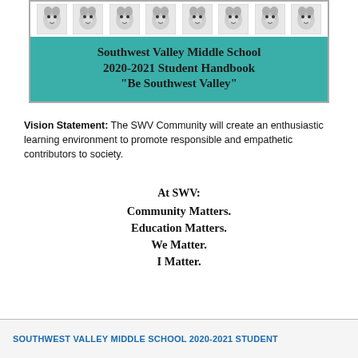[Figure (illustration): Southwest Valley Middle School 2020-2021 Student Handbook cover banner. Top row shows 8 wolf mascot face illustrations side by side. Below is a teal/green background with bold text reading: Southwest Valley Middle School / 2020-2021 Student Handbook / "Be Southwest Valley"]
Vision Statement: The SWV Community will create an enthusiastic learning environment to promote responsible and empathetic contributors to society.
At SWV:
Community Matters.
Education Matters.
We Matter.
I Matter.
SOUTHWEST VALLEY MIDDLE SCHOOL 2020-2021 STUDENT